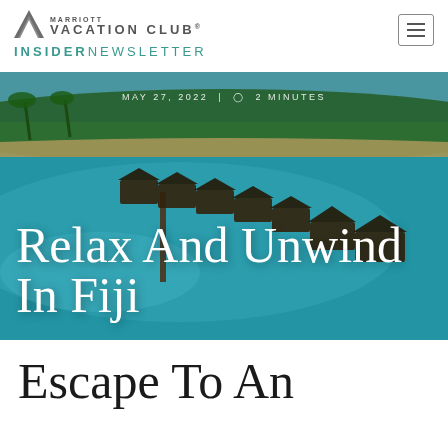Marriott Vacation Club® Insider Newsletter
[Figure (photo): Aerial view of overwater bungalows in Fiji with turquoise water and tropical island in background]
MAY 27, 2022 | 2 MINUTES
Relax And Unwind In Fiji
Escape To An